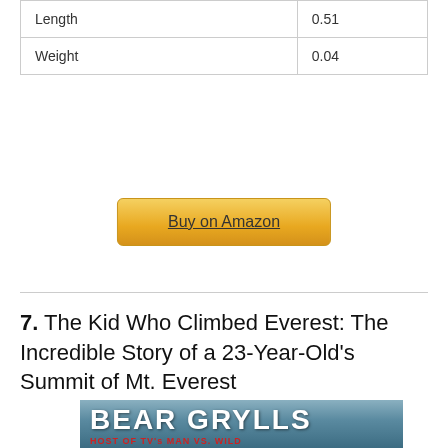| Length | 0.51 |
| Weight | 0.04 |
Buy on Amazon
7. The Kid Who Climbed Everest: The Incredible Story of a 23-Year-Old's Summit of Mt. Everest
[Figure (photo): Book cover for Bear Grylls book showing his name in large white bold text and 'HOST OF TV's MAN VS. WILD' in red text below, with a mountain background image.]